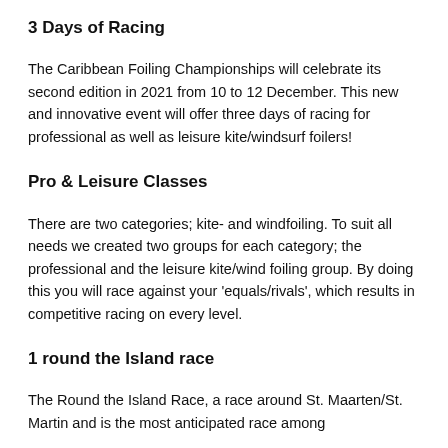3 Days of Racing
The Caribbean Foiling Championships will celebrate its second edition in 2021 from 10 to 12 December. This new and innovative event will offer three days of racing for professional as well as leisure kite/windsurf foilers!
Pro & Leisure Classes
There are two categories; kite- and windfoiling. To suit all needs we created two groups for each category; the professional and the leisure kite/wind foiling group. By doing this you will race against your 'equals/rivals', which results in competitive racing on every level.
1 round the Island race
The Round the Island Race, a race around St. Maarten/St. Martin and is the most anticipated race among